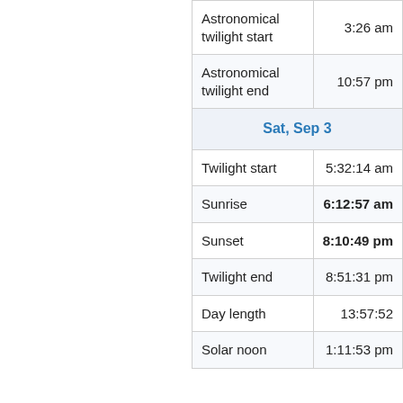| Event | Time |
| --- | --- |
| Astronomical twilight start | 3:26 am |
| Astronomical twilight end | 10:57 pm |
| Sat, Sep 3 |  |
| Twilight start | 5:32:14 am |
| Sunrise | 6:12:57 am |
| Sunset | 8:10:49 pm |
| Twilight end | 8:51:31 pm |
| Day length | 13:57:52 |
| Solar noon | 1:11:53 pm |